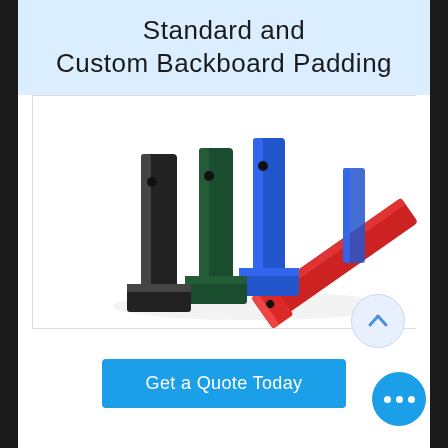Standard and Custom Backboard Padding
[Figure (photo): Four colorful backboard padding pieces (black, dark green, blue, red) standing upright side by side, showing their U-channel profile]
Get a Quote Today